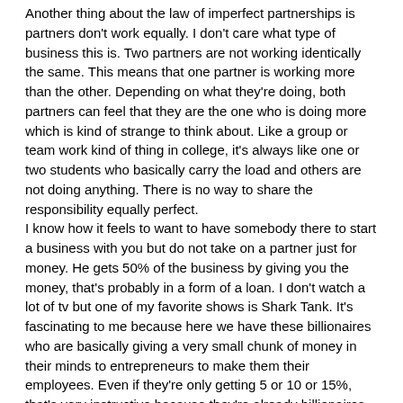Another thing about the law of imperfect partnerships is partners don't work equally. I don't care what type of business this is. Two partners are not working identically the same. This means that one partner is working more than the other. Depending on what they're doing, both partners can feel that they are the one who is doing more which is kind of strange to think about. Like a group or team work kind of thing in college, it's always like one or two students who basically carry the load and others are not doing anything. There is no way to share the responsibility equally perfect.
I know how it feels to want to have somebody there to start a business with you but do not take on a partner just for money. He gets 50% of the business by giving you the money, that's probably in a form of a loan. I don't watch a lot of tv but one of my favorite shows is Shark Tank. It's fascinating to me because here we have these billionaires who are basically giving a very small chunk of money in their minds to entrepreneurs to make them their employees. Even if they're only getting 5 or 10 or 15%, that's very instructive because they're already billionaires. They are willing to take their time to spend 50,000 – 100,000 to a company to turn that person into a new stream of revenue. They are looking for competitive advantages that these companies have, something that cannot be replicated.
Partnerships most of the time are not going to work. Your are going to put yourself at a disadvantage if you start a business with a partner. This is